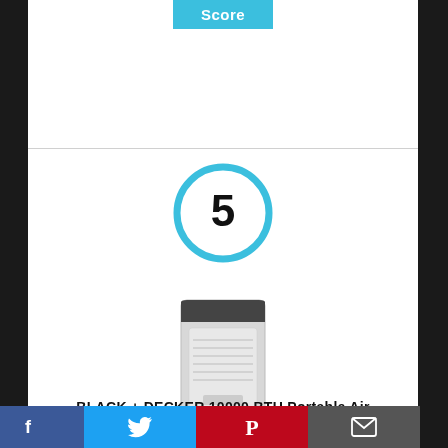Score
[Figure (infographic): A circle with the number 5 inside, outlined in cyan/blue color, representing a score rating.]
[Figure (photo): Product photo of a BLACK + DECKER portable air conditioner unit, white/silver colored tower design.]
BLACK + DECKER 10000 BTU Portable Air Conditioner Unit, Remote, LED Display